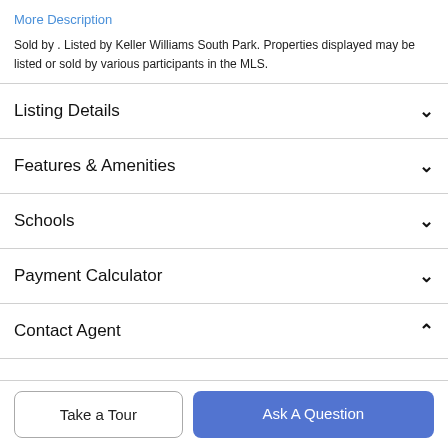More Description
Sold by . Listed by Keller Williams South Park. Properties displayed may be listed or sold by various participants in the MLS.
Listing Details
Features & Amenities
Schools
Payment Calculator
Contact Agent
Take a Tour
Ask A Question